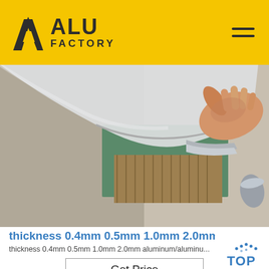ALU FACTORY
[Figure (photo): A hand peeling back a thin aluminum/aluminium sheet from a stack of materials including what appears to be insulation and burlap-wrapped materials on a green surface]
thickness 0.4mm 0.5mm 1.0mm 2.0mm al...
thickness 0.4mm 0.5mm 1.0mm 2.0mm aluminum/aluminu...
Get Price